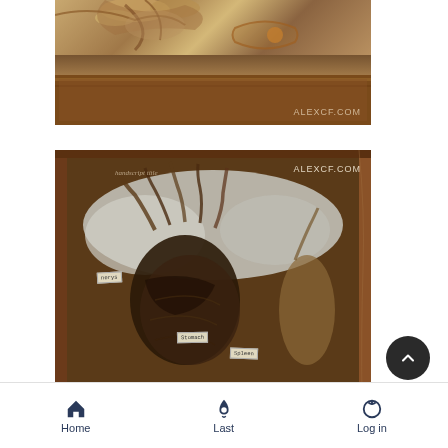[Figure (photo): Close-up photo of antique wooden drawer with ornate bronze handle and clawed sculptural elements, watermarked ALEXCF.COM]
[Figure (photo): Photo of an open wooden display case/drawer containing dark sculptural specimen pieces arranged on white material with handwritten labels reading 'nerys', 'Stomach', 'Spleen', watermarked ALEXCF.COM]
Home  Last  Log in